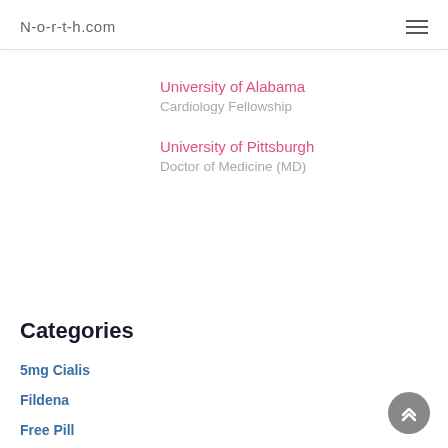N-o-r-t-h.com
University of Alabama
Cardiology Fellowship
University of Pittsburgh
Doctor of Medicine (MD)
Categories
5mg Cialis
Fildena
Free Pill